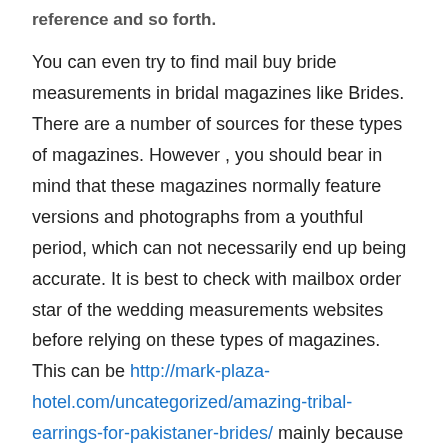reference and so forth.
You can even try to find mail buy bride measurements in bridal magazines like Brides. There are a number of sources for these types of magazines. However , you should bear in mind that these magazines normally feature versions and photographs from a youthful period, which can not necessarily end up being accurate. It is best to check with mailbox order star of the wedding measurements websites before relying on these types of magazines. This can be http://mark-plaza-hotel.com/uncategorized/amazing-tribal-earrings-for-pakistaner-brides/ mainly because if there is something that looks too good being true, this probably can be.
Another option that you have is to talk to people who are currently married. Ask them about all mail order bride measurements. Of course , you should only depend on people